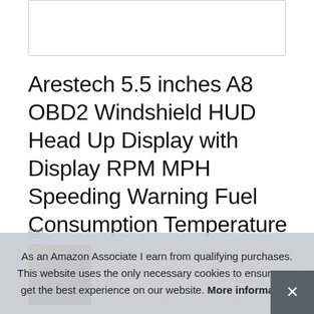[Figure (photo): White rectangular image placeholder with a thin gray border at the top of the page]
Arestech 5.5 inches A8 OBD2 Windshield HUD Head Up Display with Display RPM MPH Speeding Warning Fuel Consumption Temperature
#ad
[Figure (photo): Row of four thumbnail images: first shows a car interior/dark scene photo, remaining three are partially obscured by cookie banner]
As an Amazon Associate I earn from qualifying purchases. This website uses the only necessary cookies to ensure you get the best experience on our website. More information